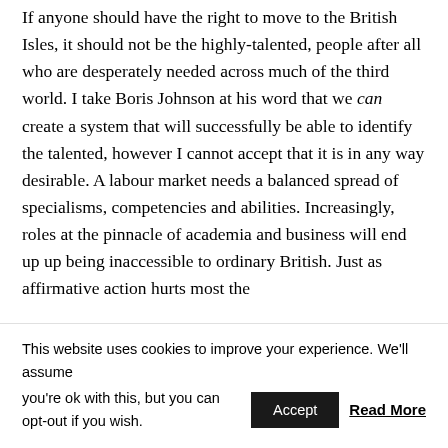If anyone should have the right to move to the British Isles, it should not be the highly-talented, people after all who are desperately needed across much of the third world. I take Boris Johnson at his word that we can create a system that will successfully be able to identify the talented, however I cannot accept that it is in any way desirable. A labour market needs a balanced spread of specialisms, competencies and abilities. Increasingly, roles at the pinnacle of academia and business will end up up being inaccessible to ordinary British. Just as affirmative action hurts most the
This website uses cookies to improve your experience. We'll assume you're ok with this, but you can opt-out if you wish. Accept Read More